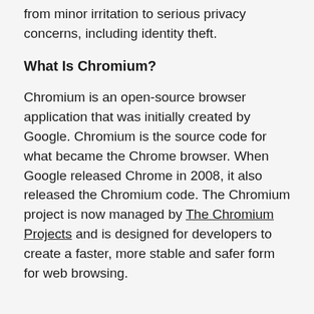from minor irritation to serious privacy concerns, including identity theft.
What Is Chromium?
Chromium is an open-source browser application that was initially created by Google. Chromium is the source code for what became the Chrome browser. When Google released Chrome in 2008, it also released the Chromium code. The Chromium project is now managed by The Chromium Projects and is designed for developers to create a faster, more stable and safer form for web browsing.